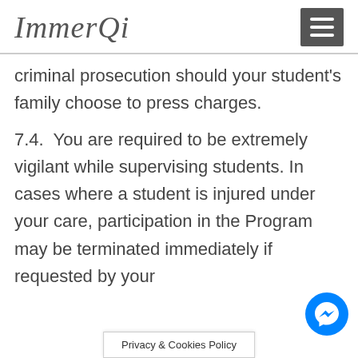ImmerQi
criminal prosecution should your student's family choose to press charges.
7.4.  You are required to be extremely vigilant while supervising students. In cases where a student is injured under your care, participation in the Program may be terminated immediately if requested by your
Privacy & Cookies Policy